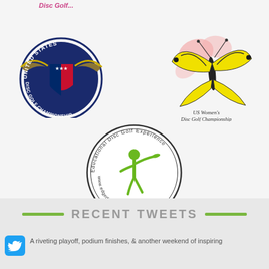[Figure (logo): Partial logo at top, appears to be a disc golf related logo, partially cropped]
[Figure (logo): United States Disc Golf Championship circular emblem with eagle wings and shield]
[Figure (logo): US Women's Disc Golf Championship logo with swallowtail butterfly and pink flowers]
[Figure (logo): Educational Disc Golf Experience (EDGE) circular logo with running figure throwing disc, www.edgediscgolf.org]
RECENT TWEETS
A riveting playoff, podium finishes, & another weekend of inspiring